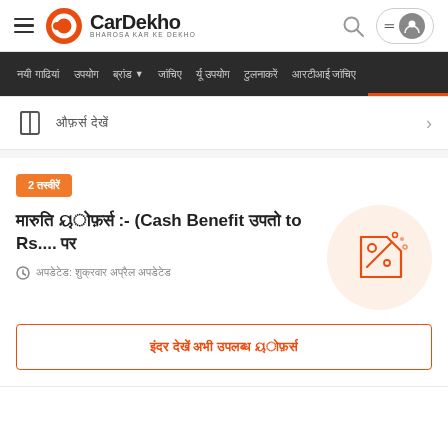CarDekho - BHAROSA KAR KE DEKHO
Navigation bar with menu items in regional script
ऑफर्स देखें (see offers) >
2 तस्वीरें
मारुति ऑफर्स :- (Cash Benefit upto Rs.... पर
अपडेटेड: मंगलवार अप्रैल अपडेटेड
ऑफर्स देखें सभी ऑफर